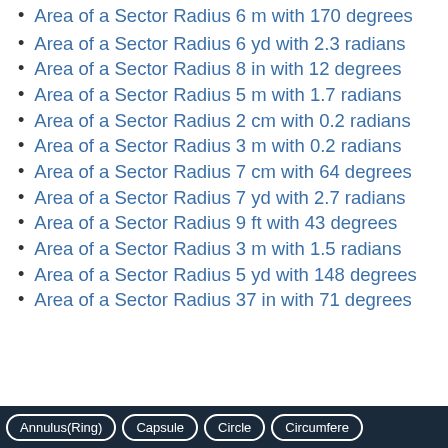Area of a Sector Radius 6 m with 170 degrees
Area of a Sector Radius 6 yd with 2.3 radians
Area of a Sector Radius 8 in with 12 degrees
Area of a Sector Radius 5 m with 1.7 radians
Area of a Sector Radius 2 cm with 0.2 radians
Area of a Sector Radius 3 m with 0.2 radians
Area of a Sector Radius 7 cm with 64 degrees
Area of a Sector Radius 7 yd with 2.7 radians
Area of a Sector Radius 9 ft with 43 degrees
Area of a Sector Radius 3 m with 1.5 radians
Area of a Sector Radius 5 yd with 148 degrees
Area of a Sector Radius 37 in with 71 degrees
Annulus(Ring)   Capsule   Circle   Circumference